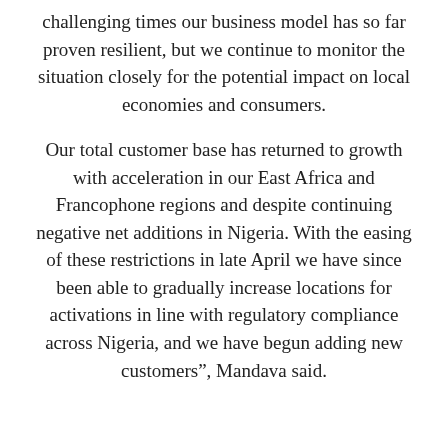challenging times our business model has so far proven resilient, but we continue to monitor the situation closely for the potential impact on local economies and consumers.
Our total customer base has returned to growth with acceleration in our East Africa and Francophone regions and despite continuing negative net additions in Nigeria. With the easing of these restrictions in late April we have since been able to gradually increase locations for activations in line with regulatory compliance across Nigeria, and we have begun adding new customers”, Mandava said.